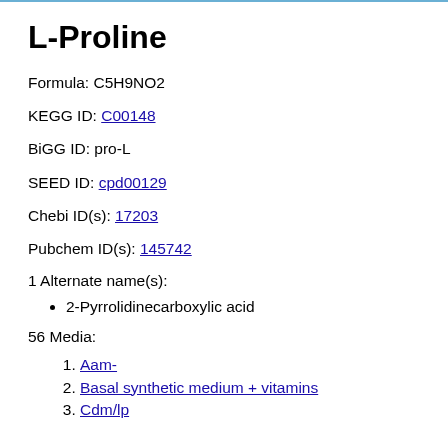L-Proline
Formula: C5H9NO2
KEGG ID: C00148
BiGG ID: pro-L
SEED ID: cpd00129
Chebi ID(s): 17203
Pubchem ID(s): 145742
1 Alternate name(s):
2-Pyrrolidinecarboxylic acid
56 Media:
Aam-
Basal synthetic medium + vitamins
Cdm/lp